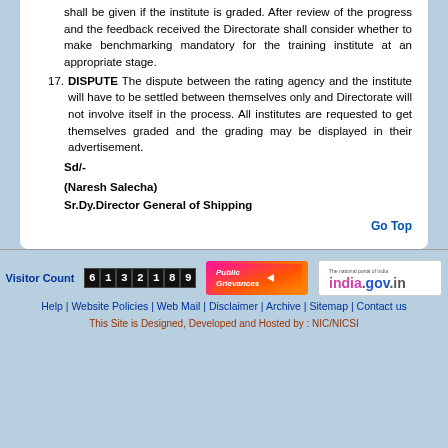shall be given if the institute is graded. After review of the progress and the feedback received the Directorate shall consider whether to make benchmarking mandatory for the training institute at an appropriate stage.
17. DISPUTE The dispute between the rating agency and the institute will have to be settled between themselves only and Directorate will not involve itself in the process. All institutes are requested to get themselves graded and the grading may be displayed in their advertisement.
Sd/-
(Naresh Salecha)
Sr.Dy.Director General of Shipping
Go Top
Visitor Count 6132189
Public Grievances
india.gov.in - The national portal of India
Help | Website Policies | Web Mail | Disclaimer | Archive | Sitemap | Contact us
This Site is Designed, Developed and Hosted by : NIC/NICSI